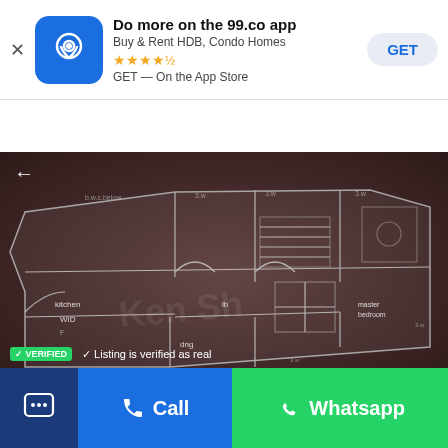[Figure (screenshot): App store banner for 99.co app with icon, title, stars, and GET button]
Do more on the 99.co app — Buy & Rent HDB, Condo Homes — GET — On the App Store
[Figure (logo): 99.co navigation bar with hamburger menu, pin logo, and folder icon]
[Figure (engineering-diagram): Floor plan blueprint showing rooms including kitchen, WID, living area, bedrooms, dining, entry, and bathrooms on dark brown background]
Call
Whatsapp
VERIFIED   ✓ Listing is verified as real